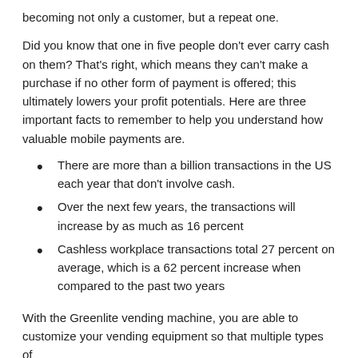becoming not only a customer, but a repeat one.
Did you know that one in five people don't ever carry cash on them? That's right, which means they can't make a purchase if no other form of payment is offered; this ultimately lowers your profit potentials. Here are three important facts to remember to help you understand how valuable mobile payments are.
There are more than a billion transactions in the US each year that don't involve cash.
Over the next few years, the transactions will increase by as much as 16 percent
Cashless workplace transactions total 27 percent on average, which is a 62 percent increase when compared to the past two years
With the Greenlite vending machine, you are able to customize your vending equipment so that multiple types of